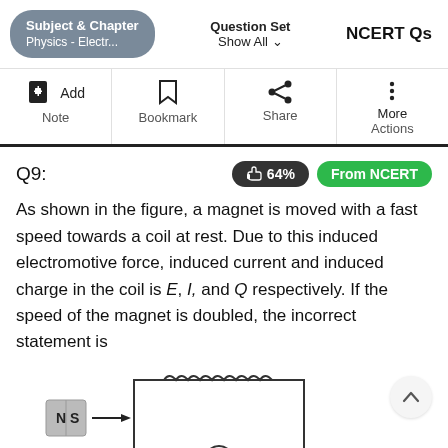Subject & Chapter: Physics - Electr... | Question Set: Show All | NCERT Qs
Add Note | Bookmark | Share | More Actions
Q9:  👍 64%  From NCERT
As shown in the figure, a magnet is moved with a fast speed towards a coil at rest. Due to this induced electromotive force, induced current and induced charge in the coil is E, I, and Q respectively. If the speed of the magnet is doubled, the incorrect statement is
[Figure (illustration): Diagram showing a bar magnet labeled N and S moving (arrow pointing right) towards a rectangular coil circuit with a coil (inductor symbol) on top and a component (galvanometer/resistor circle) at the bottom.]